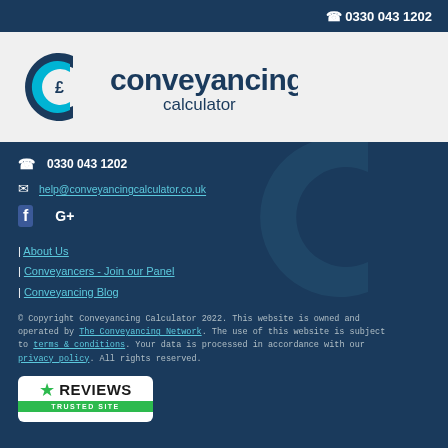0330 043 1202
[Figure (logo): Conveyancing Calculator logo with stylized C and pound sign icon]
0330 043 1202
help@conveyancingcalculator.co.uk
Facebook icon, Google+ icon
About Us
Conveyancers - Join our Panel
Conveyancing Blog
© Copyright Conveyancing Calculator 2022. This website is owned and operated by The Conveyancing Network. The use of this website is subject to terms & conditions. Your data is processed in accordance with our privacy policy. All rights reserved.
[Figure (logo): Reviews.co.uk Trusted Site badge with green star]